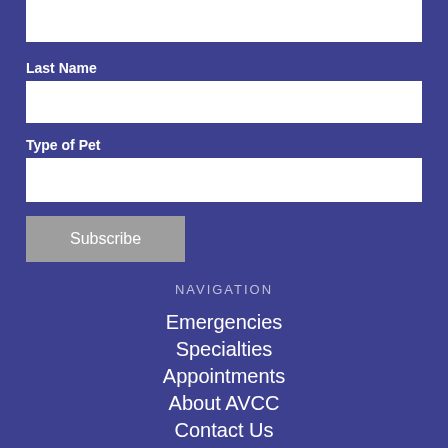Last Name
[Figure (other): Last Name text input field (white rectangle)]
Type of Pet
[Figure (other): Type of Pet text input field (white rectangle)]
Subscribe
NAVIGATION
Emergencies
Specialties
Appointments
About AVCC
Contact Us